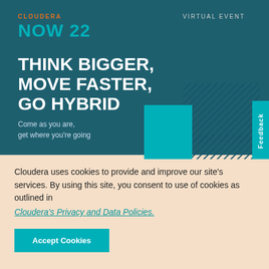[Figure (illustration): Cloudera NOW 22 virtual event banner with teal and dark teal background, decorative hatched rectangles and teal square, showing event branding and tagline]
CLOUDERA NOW 22
VIRTUAL EVENT
THINK BIGGER, MOVE FASTER, GO HYBRID
Come as you are, get where you're going
Cloudera uses cookies to provide and improve our site's services. By using this site, you consent to use of cookies as outlined in Cloudera's Privacy and Data Policies.
Accept Cookies